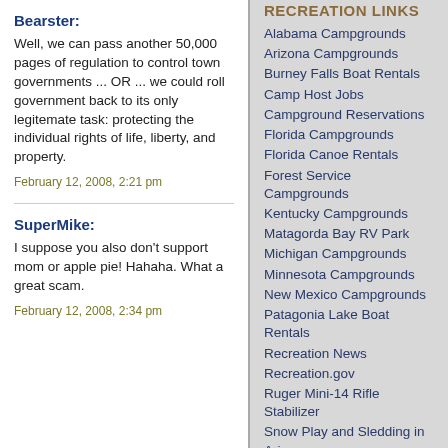Bearster:
Well, we can pass another 50,000 pages of regulation to control town governments ... OR ... we could roll government back to its only legitemate task: protecting the individual rights of life, liberty, and property.
February 12, 2008, 2:21 pm
SuperMike:
I suppose you also don't support mom or apple pie! Hahaha. What a great scam.
February 12, 2008, 2:34 pm
RECREATION LINKS
Alabama Campgrounds
Arizona Campgrounds
Burney Falls Boat Rentals
Camp Host Jobs
Campground Reservations
Florida Campgrounds
Florida Canoe Rentals
Forest Service Campgrounds
Kentucky Campgrounds
Matagorda Bay RV Park
Michigan Campgrounds
Minnesota Campgrounds
New Mexico Campgrounds
Patagonia Lake Boat Rentals
Recreation News
Recreation.gov
Ruger Mini-14 Rifle Stabilizer
Snow Play and Sledding in Arizona
Texas Campgrounds
Texas Marina